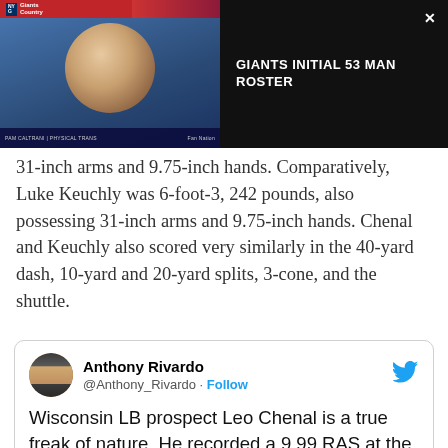[Figure (screenshot): Video thumbnail showing a woman speaking on a broadcast with Giants Country branding, and a dark panel with text 'GIANTS INITIAL 53 MAN ROSTER' and a close button X]
31-inch arms and 9.75-inch hands. Comparatively, Luke Keuchly was 6-foot-3, 242 pounds, also possessing 31-inch arms and 9.75-inch hands. Chenal and Keuchly also scored very similarly in the 40-yard dash, 10-yard and 20-yard splits, 3-cone, and the shuttle.
Anthony Rivardo @Anthony_Rivardo · Follow
Wisconsin LB prospect Leo Chenal is a true freak of nature. He recorded a 9.99 RAS at the combine.